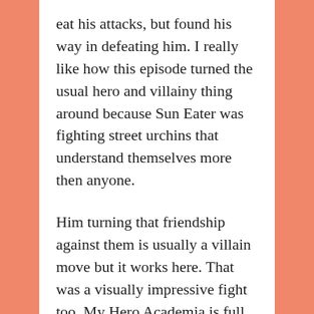eat his attacks, but found his way in defeating him. I really like how this episode turned the usual hero and villainy thing around because Sun Eater was fighting street urchins that understand themselves more then anyone.
Him turning that friendship against them is usually a villain move but it works here. That was a visually impressive fight too. My Hero Academia is full of great animation, but this was definitely amongst the best so far. So good episode. I am worried about these fights pushing MHA into the bad Bleach area where they are fights from different characters that go on forever. It’s kind of scary.